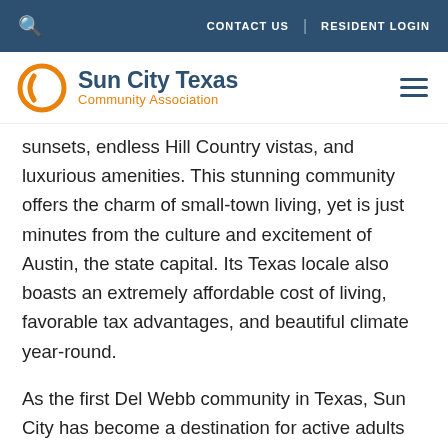🔍  CONTACT US  |  RESIDENT LOGIN
[Figure (logo): Sun City Texas Community Association logo with orange circle icon and blue/orange text]
sunsets, endless Hill Country vistas, and luxurious amenities. This stunning community offers the charm of small-town living, yet is just minutes from the culture and excitement of Austin, the state capital. Its Texas locale also boasts an extremely affordable cost of living, favorable tax advantages, and beautiful climate year-round.
As the first Del Webb community in Texas, Sun City has become a destination for active adults with a passion for life. For recreation you'll enjoy three championship golf courses, world-class fitness centers, swimming,